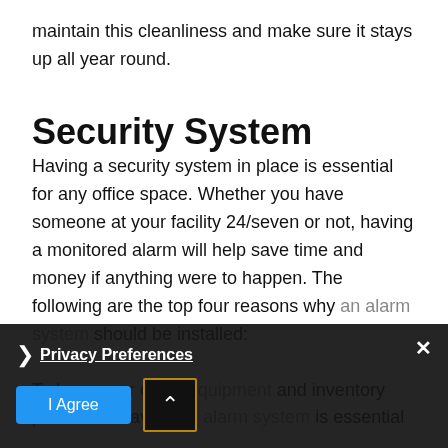maintain this cleanliness and make sure it stays up all year round.
Security System
Having a security system in place is essential for any office space. Whether you have someone at your facility 24/seven or not, having a monitored alarm will help save time and money if anything were to happen. The following are the top four reasons why an alarm system should be installed:
To keep your office equipment and inventory protected. Having an alarm system is essential...